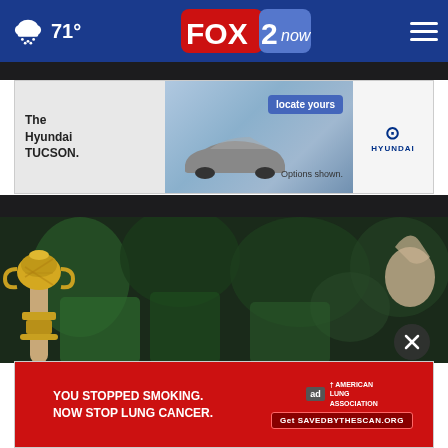71° FOX 2 now
[Figure (photo): Hyundai TUCSON advertisement with car image and text 'The Hyundai TUCSON. locate yours. Options shown.' with Hyundai logo]
[Figure (photo): Person holding a trophy (resembling the FIFA World Cup) aloft in front of a crowd wearing green, blurred background]
[Figure (photo): American Lung Association advertisement: 'YOU STOPPED SMOKING. NOW STOP LUNG CANCER.' with 'Get SAVEDBY THESCAN.ORG' button and ad/lung association logos]